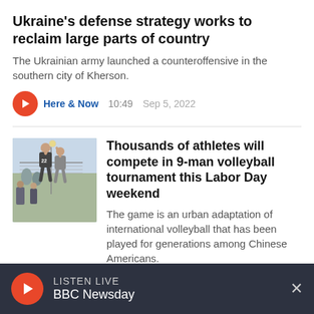Ukraine's defense strategy works to reclaim large parts of country
The Ukrainian army launched a counteroffensive in the southern city of Kherson.
Here & Now  10:49  Sep 5, 2022
Thousands of athletes will compete in 9-man volleyball tournament this Labor Day weekend
[Figure (photo): Athletes playing 9-man volleyball, with player wearing jersey number 22 jumping near the net]
The game is an urban adaptation of international volleyball that has been played for generations among Chinese Americans.
Here & Now  05:44  Sep 2, 2022
LISTEN LIVE  BBC Newsday